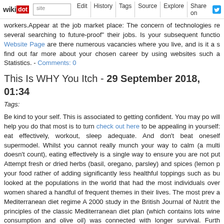wikidot | site | Edit | History | Tags | Source | Explore | Share on [Twitter]
workers.Appear at the job market place: The concern of technologies re several searching to future-proof" their jobs. Is your subsequent functio Website Page are there numerous vacancies where you live, and is it a s find out far more about your chosen career by using websites such a Statistics. - Comments: 0
This Is WHY You Itch - 29 September 2018, 01:34
Tags:
Be kind to your self. This is associated to getting confident. You may po will help you do that most is to turn check out here to be appealing in yourself: eat effectively, workout, sleep adequate. And don't beat oneself supermodel. Whilst you cannot really munch your way to calm (a multi doesn't count), eating effectively is a single way to ensure you are not put Attempt fresh or dried herbs (basil, oregano, parsley) and spices (lemon p your food rather of adding significantly less healthful toppings such as bu looked at the populations in the world that had the most individuals over women shared a handful of frequent themes in their lives. The most prev a Mediterranean diet regime A 2000 study in the British Journal of Nutrit the principles of the classic Mediterranean diet plan (which contains lots wine consumption and olive oil) was connected with longer survival. Furth Cancer Prevention found that a Mediterranean diet was connected with r And a 2010 overview of research in the American Journal of Clinical Inves against main chronic illnesses.Marie Bostwick is a USA Right now and uplifting historical and women's fiction, including the common Cobbled books. Chocolate: Are we recommending chocolate as a element of a m are! Rejoice! A new study has identified that consuming chocolate